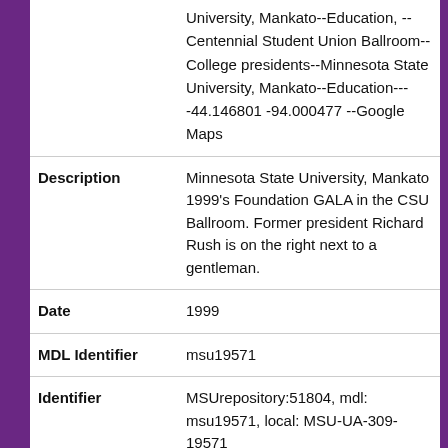University, Mankato--Education, --Centennial Student Union Ballroom--College presidents--Minnesota State University, Mankato--Education----44.146801 -94.000477 --Google Maps
| Field | Value |
| --- | --- |
| Description | Minnesota State University, Mankato 1999's Foundation GALA in the CSU Ballroom. Former president Richard Rush is on the right next to a gentleman. |
| Date | 1999 |
| MDL Identifier | msu19571 |
| Identifier | MSUrepository:51804, mdl: msu19571, local: MSU-UA-309-19571 |
| Title | Minnesota State University, Mankato 1999's Foundation GALA in the CSU |